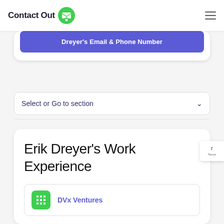ContactOut
Dreyer's Email & Phone Number
Select or Go to section
Erik Dreyer's Work Experience
DVx Ventures